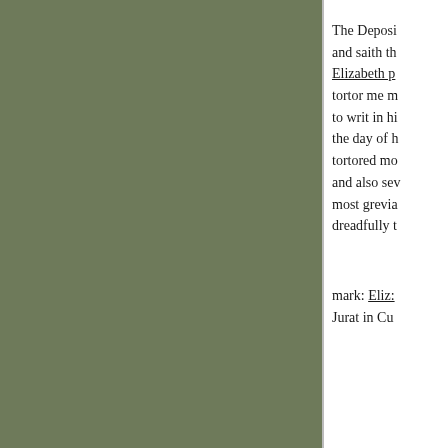[Figure (other): Olive/sage green rectangular panel occupying the left two-thirds of the page]
The Deposi and saith th Elizabeth p tortor me m to writ in hi the day of h tortored mo and also sev most grevi dreadfully t
mark: Eliz: Jurat in Cu